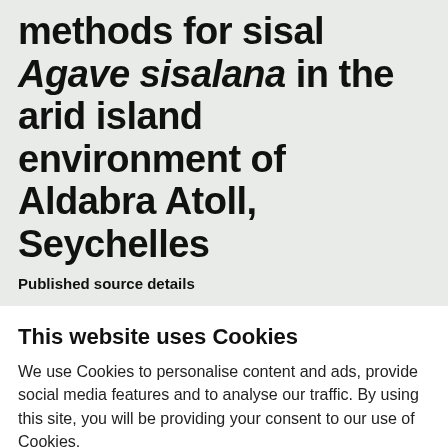Trial of herbicide control methods for sisal Agave sisalana in the arid island environment of Aldabra Atoll, Seychelles
Published source details
This website uses Cookies
We use Cookies to personalise content and ads, provide social media features and to analyse our traffic. By using this site, you will be providing your consent to our use of Cookies.
Accept & continue